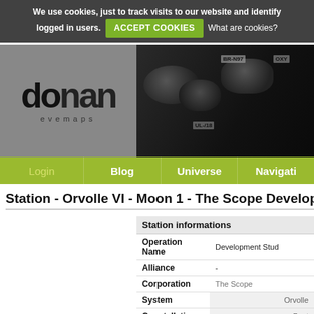We use cookies, just to track visits to our website and identify logged in users. ACCEPT COOKIES What are cookies?
[Figure (logo): Dotlan evemaps logo with stylized text]
[Figure (photo): Dark screenshot showing asteroids with labels BR-N97 and OXY in space]
Login | Blog | Universe | Navigation
Station - Orvolle VI - Moon 1 - The Scope Development
| Station informations |  |
| --- | --- |
| Operation Name | Development Stud |
| Alliance | - |
| Corporation | The Scope |
| System | Orvolle |
| Constellation | Beyt |
| Region | Placid |
| Orbit | Orvolle VI - Moon 1 |
| Services | Bounty Missions
Courier Missions
Docking
Fitting |